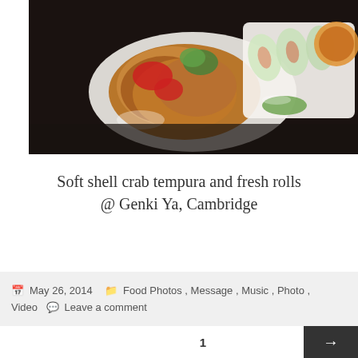[Figure (photo): Food photo showing two white plates on a dark table: left plate has soft shell crab tempura with cherry tomatoes and parsley garnish; right rectangular plate has fresh spring rolls with dipping sauce.]
Soft shell crab tempura and fresh rolls @ Genki Ya, Cambridge
May 26, 2014  Food Photos, Message, Music, Photo, Video  Leave a comment
1